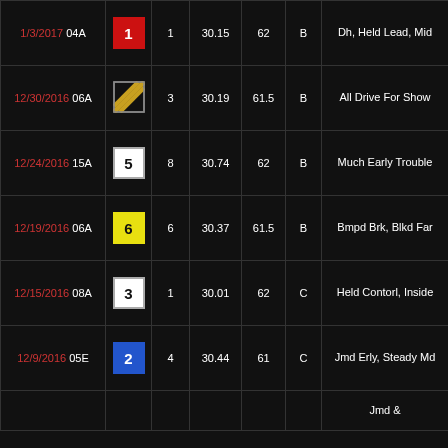| Date | Badge | # | Time | Wt | Grade | Comment |
| --- | --- | --- | --- | --- | --- | --- |
| 1/3/2017 04A | 1 | 1 | 30.15 | 62 | B | Dh, Held Lead, Mid |
| 12/30/2016 06A | stripe | 3 | 30.19 | 61.5 | B | All Drive For Show |
| 12/24/2016 15A | 5 | 8 | 30.74 | 62 | B | Much Early Trouble |
| 12/19/2016 06A | 6 | 6 | 30.37 | 61.5 | B | Bmpd Brk, Blkd Far |
| 12/15/2016 08A | 3 | 1 | 30.01 | 62 | C | Held Contorl, Inside |
| 12/9/2016 05E | 2 | 4 | 30.44 | 61 | C | Jmd Erly, Steady Md |
|  |  |  |  |  |  | Jmd & |